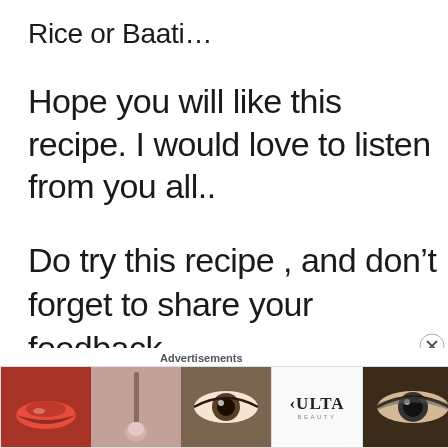Rice or Baati…
Hope you will like this recipe. I would love to listen from you all..
Do try this recipe , and don't forget to share your feedback
Advertisements
[Figure (other): Ulta Beauty advertisement banner with cosmetic images showing lips, makeup brush, eye, Ulta logo, smoky eye, and Shop Now button]